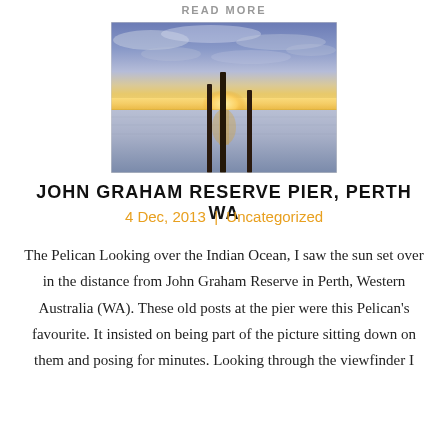READ MORE
[Figure (photo): Sunset over the Indian Ocean at John Graham Reserve pier, Perth WA. Calm water reflects golden light, with old pier posts silhouetted against a dramatic sky of blue and purple clouds.]
JOHN GRAHAM RESERVE PIER, PERTH WA
4 Dec, 2013 | Uncategorized
The Pelican Looking over the Indian Ocean, I saw the sun set over in the distance from John Graham Reserve in Perth, Western Australia (WA). These old posts at the pier were this Pelican's favourite. It insisted on being part of the picture sitting down on them and posing for minutes. Looking through the viewfinder I